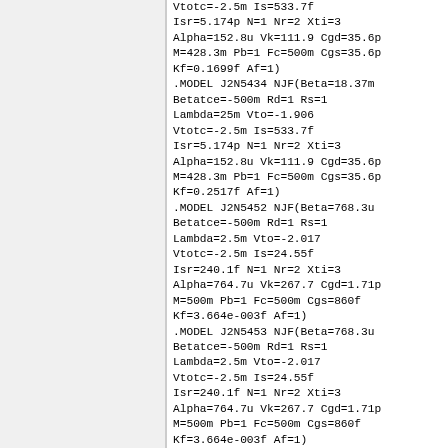Vtotc=-2.5m Is=533.7f
Isr=5.174p N=1 Nr=2 Xti=3
Alpha=152.8u Vk=111.9 Cgd=35.6p
M=428.3m Pb=1 Fc=500m Cgs=35.6p
Kf=0.1699f Af=1)
.MODEL J2N5434 NJF(Beta=18.37m
Betatce=-500m Rd=1 Rs=1
Lambda=25m Vto=-1.906
Vtotc=-2.5m Is=533.7f
Isr=5.174p N=1 Nr=2 Xti=3
Alpha=152.8u Vk=111.9 Cgd=35.6p
M=428.3m Pb=1 Fc=500m Cgs=35.6p
Kf=0.2517f Af=1)
.MODEL J2N5452 NJF(Beta=768.3u
Betatce=-500m Rd=1 Rs=1
Lambda=2.5m Vto=-2.017
Vtotc=-2.5m Is=24.55f
Isr=240.1f N=1 Nr=2 Xti=3
Alpha=764.7u Vk=267.7 Cgd=1.71p
M=500m Pb=1 Fc=500m Cgs=860f
Kf=3.664e-003f Af=1)
.MODEL J2N5453 NJF(Beta=768.3u
Betatce=-500m Rd=1 Rs=1
Lambda=2.5m Vto=-2.017
Vtotc=-2.5m Is=24.55f
Isr=240.1f N=1 Nr=2 Xti=3
Alpha=764.7u Vk=267.7 Cgd=1.71p
M=500m Pb=1 Fc=500m Cgs=860f
Kf=3.664e-003f Af=1)
.MODEL J2N5454 NJF(Beta=768.3u
Betatce=-500m Rd=1 Rs=1
Lambda=2.5m Vto=-2.017
Vtotc=-2.5m Is=24.55f